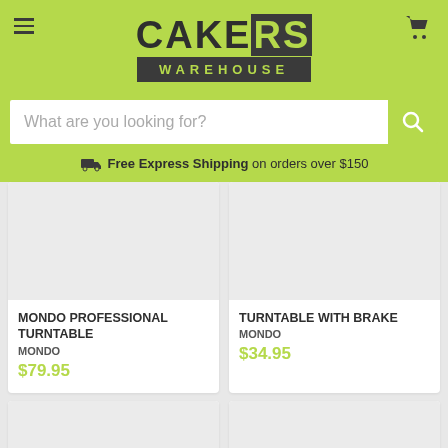CAKERS WAREHOUSE
What are you looking for?
Free Express Shipping on orders over $150
MONDO PROFESSIONAL TURNTABLE
MONDO
$79.95
TURNTABLE WITH BRAKE
MONDO
$34.95